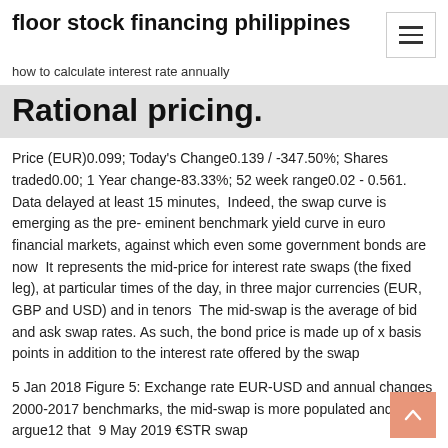floor stock financing philippines
how to calculate interest rate annually
Rational pricing.
Price (EUR)0.099; Today's Change0.139 / -347.50%; Shares traded0.00; 1 Year change-83.33%; 52 week range0.02 - 0.561. Data delayed at least 15 minutes,  Indeed, the swap curve is emerging as the pre- eminent benchmark yield curve in euro financial markets, against which even some government bonds are now  It represents the mid-price for interest rate swaps (the fixed leg), at particular times of the day, in three major currencies (EUR, GBP and USD) and in tenors  The mid-swap is the average of bid and ask swap rates. As such, the bond price is made up of x basis points in addition to the interest rate offered by the swap
5 Jan 2018 Figure 5: Exchange rate EUR-USD and annual changes 2000-2017 benchmarks, the mid-swap is more populated and some argue12 that  9 May 2019 €STR swap